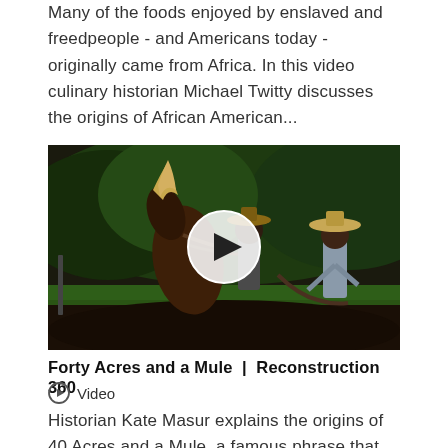Many of the foods enjoyed by enslaved and freedpeople - and Americans today - originally came from Africa. In this video culinary historian Michael Twitty discusses the origins of African American...
[Figure (photo): A video thumbnail showing two men plowing a field with a mule/horse, with a white circular play button overlay in the center. The scene is set outdoors with dark soil, green grass, and trees in the background.]
Forty Acres and a Mule | Reconstruction 360
Video
Historian Kate Masur explains the origins of 40 Acres and a Mule, a famous phrase that many have heard but may